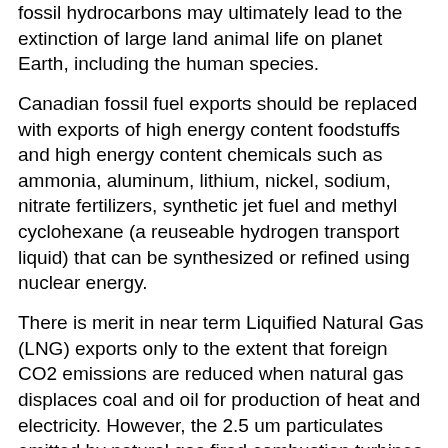fossil hydrocarbons may ultimately lead to the extinction of large land animal life on planet Earth, including the human species.
Canadian fossil fuel exports should be replaced with exports of high energy content foodstuffs and high energy content chemicals such as ammonia, aluminum, lithium, nickel, sodium, nitrate fertilizers, synthetic jet fuel and methyl cyclohexane (a reuseable hydrogen transport liquid) that can be synthesized or refined using nuclear energy.
There is merit in near term Liquified Natural Gas (LNG) exports only to the extent that foreign CO2 emissions are reduced when natural gas displaces coal and oil for production of heat and electricity. However, the 2.5 um particulates emitted by natural gas fired combustion turbines accelerate ice melting and cause human asthma. It is generally a better strategy to convert base load coal fired electricity generation into nuclear electricity generation with provision for load following.
Another big public policy issue with an impact on energy use is peaceful reduction of the world's human population. Between 1960 and 2010 Canada reduced its average human female fertility from 3.9 children per woman to 1.6 children per woman. While human population control is not a